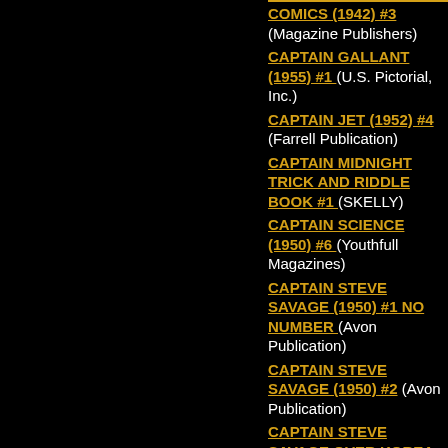COMICS (1942) #3 (Magazine Publishers)
CAPTAIN GALLANT (1955) #1 (U.S. Pictorial, Inc.)
CAPTAIN JET (1952) #4 (Farrell Publication)
CAPTAIN MIDNIGHT TRICK AND RIDDLE BOOK #1 (SKELLY)
CAPTAIN SCIENCE (1950) #6 (Youthfull Magazines)
CAPTAIN STEVE SAVAGE (1950) #1 NO NUMBER (Avon Publication)
CAPTAIN STEVE SAVAGE (1950) #2 (Avon Publication)
CAPTAIN STEVE SAVAGE OVER KOREA (1950) #1 (Avon Publication)
CARNIVAL COMICS